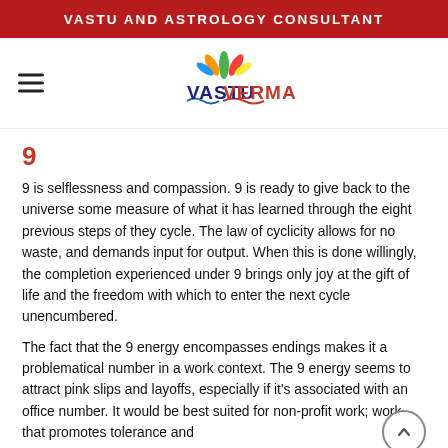VASTU AND ASTROLOGY CONSULTANT
[Figure (logo): VastuVerma logo with decorative flower/leaf icon above text reading VASTUVERMA]
9
9 is selflessness and compassion. 9 is ready to give back to the universe some measure of what it has learned through the eight previous steps of they cycle. The law of cyclicity allows for no waste, and demands input for output. When this is done willingly, the completion experienced under 9 brings only joy at the gift of life and the freedom with which to enter the next cycle unencumbered.
The fact that the 9 energy encompasses endings makes it a problematical number in a work context. The 9 energy seems to attract pink slips and layoffs, especially if it's associated with an office number. It would be best suited for non-profit work; work that promotes tolerance and